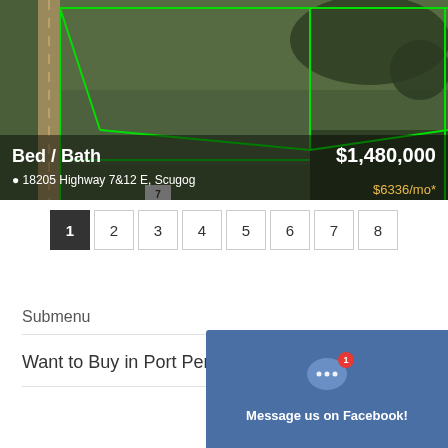[Figure (map): Aerial satellite map view of farmland with green property boundary lines overlaid. A road runs along the left edge. Fields and forested areas visible.]
Bed / Bath
$1,480,000
18205 Highway 7&12 E, Scugog
$6336/mo*
1 2 3 4 5 6 7 8
Submenu
Want to Buy in Port Perry?
[Figure (screenshot): Facebook Messenger chat widget with speech bubble icon, red badge showing 1 notification, and text: Message us on Facebook!]